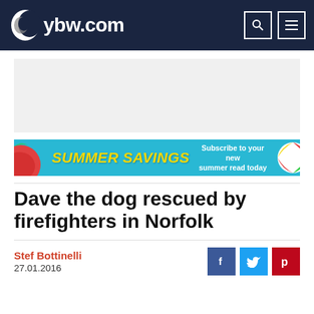ybw.com
[Figure (other): Grey placeholder advertisement banner]
[Figure (other): Summer Savings promotional banner — Subscribe to your new summer read today]
Dave the dog rescued by firefighters in Norfolk
Stef Bottinelli
27.01.2016